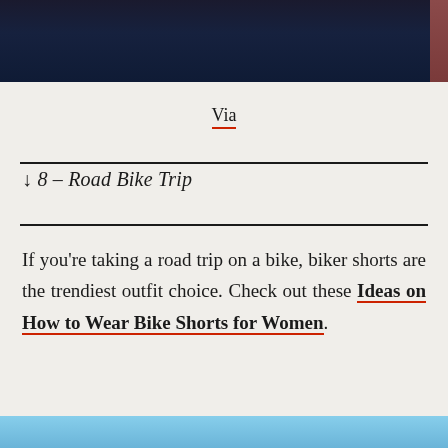[Figure (photo): Top portion of a photo showing a person in dark clothing against a dark background with reddish curtain or wall on the right side]
Via
↓ 8 – Road Bike Trip
If you're taking a road trip on a bike, biker shorts are the trendiest outfit choice. Check out these Ideas on How to Wear Bike Shorts for Women.
[Figure (photo): Bottom portion of a photo, appears to show a light blue/sky scene, partially visible at bottom of page]